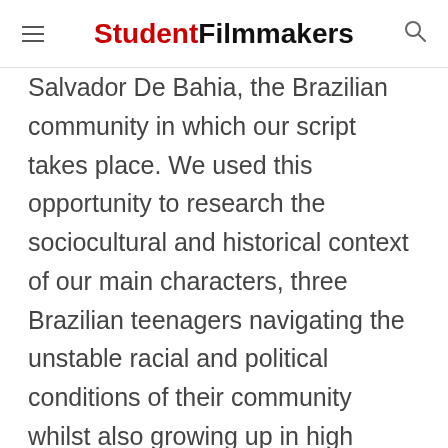StudentFilmmakers
Salvador De Bahia, the Brazilian community in which our script takes place. We used this opportunity to research the sociocultural and historical context of our main characters, three Brazilian teenagers navigating the unstable racial and political conditions of their community whilst also growing up in high school. After interviewing many